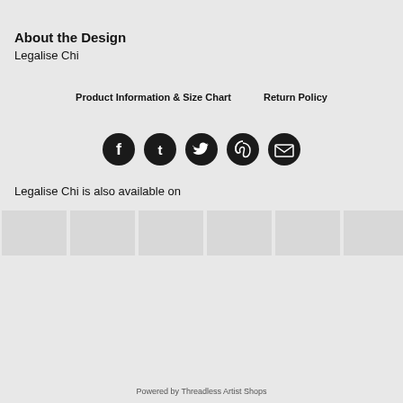About the Design
Legalise Chi
Product Information & Size Chart   Return Policy
[Figure (infographic): Five social media share icons in dark circles: Facebook, Tumblr, Twitter, Pinterest, Email]
Legalise Chi is also available on
[Figure (infographic): Six product thumbnail images shown as grey placeholder boxes]
Powered by Threadless Artist Shops